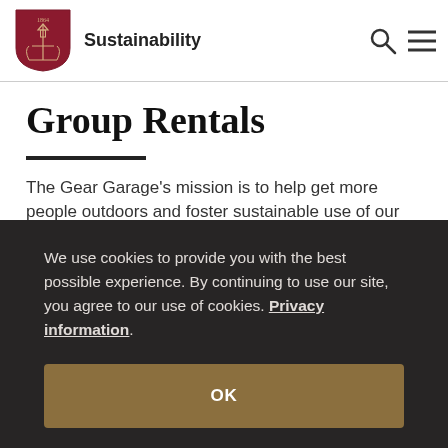Sustainability
Group Rentals
The Gear Garage's mission is to help get more people outdoors and foster sustainable use of our
We use cookies to provide you with the best possible experience. By continuing to use our site, you agree to our use of cookies. Privacy information.
OK